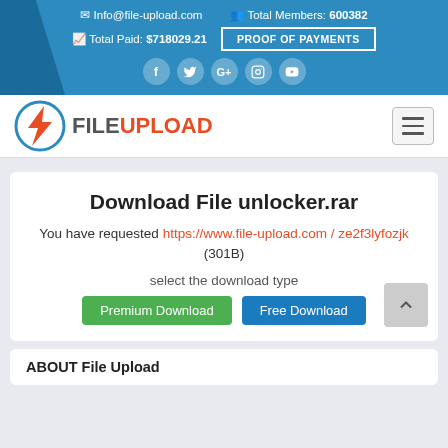Info@file-upload.com  Total Members: 600382  Total Paid: $718029.21  PROOF OF PAYMENTS
[Figure (logo): FileUpload logo with lightning bolt icon and red/orange FILEUPLOAD text]
Download File unlocker.rar
You have requested https://www.file-upload.com/ze2f3lyfozjk (301B)
select the download type
Premium Download  Free Download
ABOUT File Upload